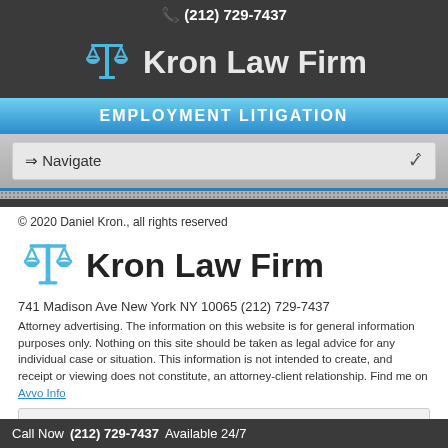(212) 729-7437
Kron Law Firm
EMPLOYMENT LITIGATION
⇒ Navigate
© 2020 Daniel Kron., all rights reserved
Kron Law Firm
741 Madison Ave New York NY 10065 (212) 729-7437
Attorney advertising. The information on this website is for general information purposes only. Nothing on this site should be taken as legal advice for any individual case or situation. This information is not intended to create, and receipt or viewing does not constitute, an attorney-client relationship. Find me on
⇒ Navigate
Call Now (212) 729-7437 Available 24/7